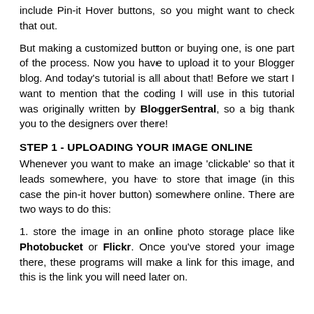include Pin-it Hover buttons, so you might want to check that out.
But making a customized button or buying one, is one part of the process. Now you have to upload it to your Blogger blog. And today's tutorial is all about that! Before we start I want to mention that the coding I will use in this tutorial was originally written by BloggerSentral, so a big thank you to the designers over there!
STEP 1 - UPLOADING YOUR IMAGE ONLINE
Whenever you want to make an image 'clickable' so that it leads somewhere, you have to store that image (in this case the pin-it hover button) somewhere online. There are two ways to do this:
1. store the image in an online photo storage place like Photobucket or Flickr. Once you've stored your image there, these programs will make a link for this image, and this is the link you will need later on.